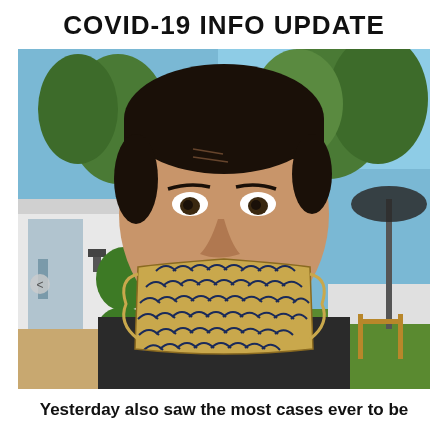COVID-19 INFO UPDATE
[Figure (photo): Man wearing a patterned face mask (black and gold scallop/fan pattern) standing outdoors in a backyard with a white building, green trees, and blue sky in the background. A patio umbrella is visible on the right side.]
Yesterday also saw the most cases ever to be